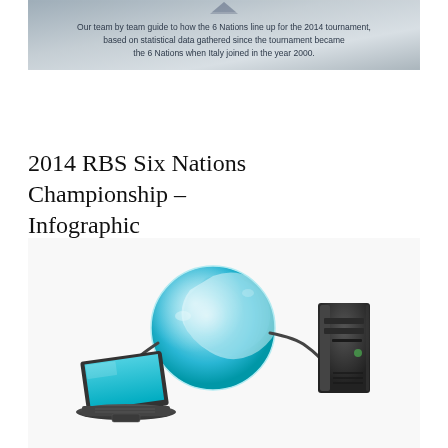[Figure (infographic): Banner image with decorative background (grey/silver texture) and centered text describing a 6 Nations rugby team guide for the 2014 tournament based on statistical data since Italy joined in 2000.]
2014 RBS Six Nations Championship – Infographic
[Figure (photo): Photo illustration showing a blue and white globe connected by cables to a laptop computer on the left and a desktop tower computer on the right, representing internet/network connectivity.]